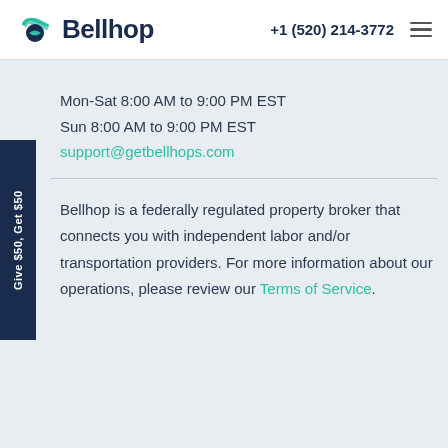Bellhop | +1 (520) 214-3772
Mon-Sat 8:00 AM to 9:00 PM EST
Sun 8:00 AM to 9:00 PM EST
support@getbellhops.com
Bellhop is a federally regulated property broker that connects you with independent labor and/or transportation providers. For more information about our operations, please review our Terms of Service.